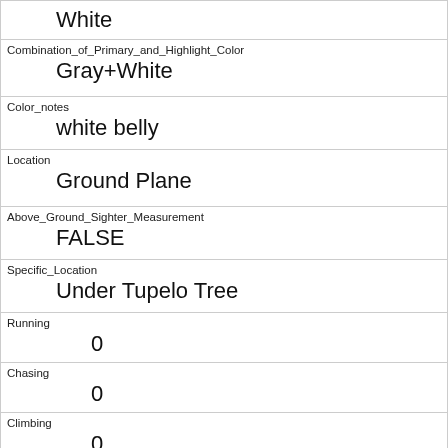| White |
| Combination_of_Primary_and_Highlight_Color
Gray+White |
| Color_notes
white belly |
| Location
Ground Plane |
| Above_Ground_Sighter_Measurement
FALSE |
| Specific_Location
Under Tupelo Tree |
| Running
0 |
| Chasing
0 |
| Climbing
0 |
| Eating
1 |
| Foraging
0 |